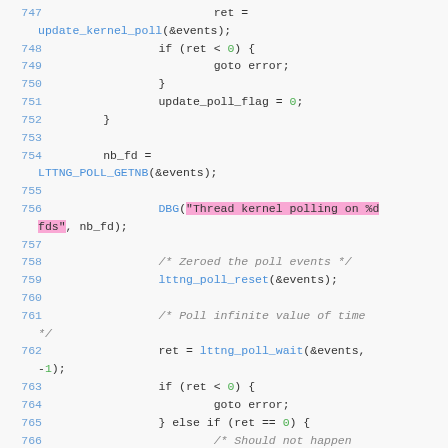[Figure (screenshot): Source code listing lines 747-766 of C code showing kernel poll thread logic with syntax highlighting. Line 756 contains a highlighted DBG() call with pink background. Colors: line numbers in blue, string literals in green, function calls in blue/purple, comments in gray italic.]